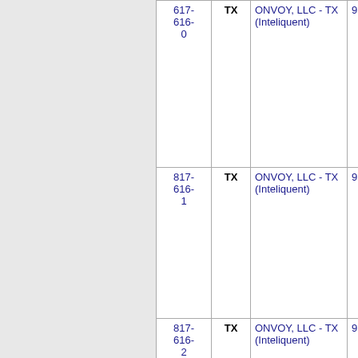| Number | State | Carrier | Extra |
| --- | --- | --- | --- |
| 817-616-0 | TX | ONVOY, LLC - TX (Inteliquent) | 9 |
| 817-616-1 | TX | ONVOY, LLC - TX (Inteliquent) | 9 |
| 817-616-2 | TX | ONVOY, LLC - TX (Inteliquent) | 9 |